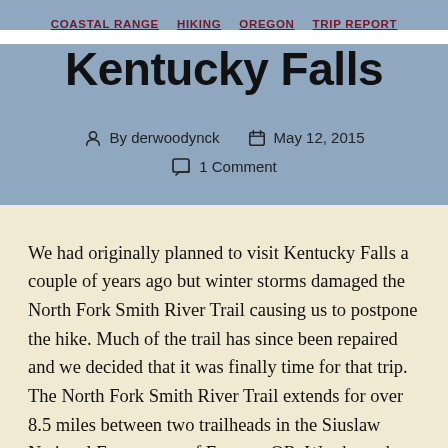COASTAL RANGE   HIKING   OREGON   TRIP REPORT
Kentucky Falls
By derwoodynck   May 12, 2015   1 Comment
We had originally planned to visit Kentucky Falls a couple of years ago but winter storms damaged the North Fork Smith River Trail causing us to postpone the hike. Much of the trail has since been repaired and we decided that it was finally time for that trip. The North Fork Smith River Trail extends for over 8.5 miles between two trailheads in the Siuslaw National Forest west of Eugene, OR. We chose the Kentucky Falls